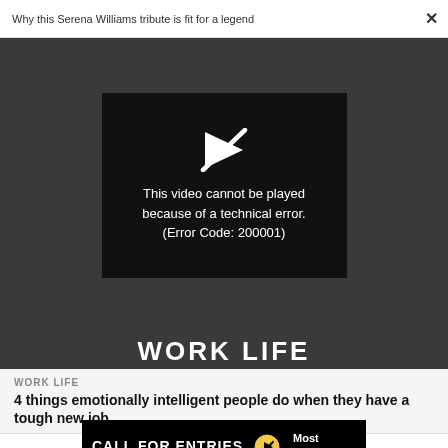Why this Serena Williams tribute is fit for a legend
[Figure (screenshot): Video player error screen on dark background showing a play icon with a slash through it and text: 'This video cannot be played because of a technical error. (Error Code: 200001)']
WORK LIFE
WORK LIFE
4 things emotionally intelligent people do when they have a tough new job
[Figure (infographic): Advertisement banner with black background. Text: 'CALL FOR ENTRIES' with 'DEADLINE: SEPTEMBER 23' in yellow. Lightbulb icon. Text: 'Most Innovative Companies']